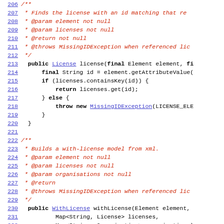[Figure (screenshot): Source code screenshot showing Java methods license() and withLicense() with line numbers 206-235, including Javadoc comments in red italic and code in black/blue monospace font.]